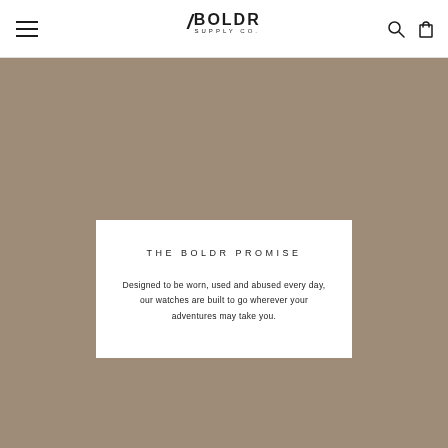BOLDR SUPPLY CO. — navigation header with hamburger menu, logo, search, and cart icons
[Figure (other): Large tan/brown background image area occupying the majority of the page below the header]
THE BOLDR PROMISE
Designed to be worn, used and abused every day, our watches are built to go wherever your adventures may take you.